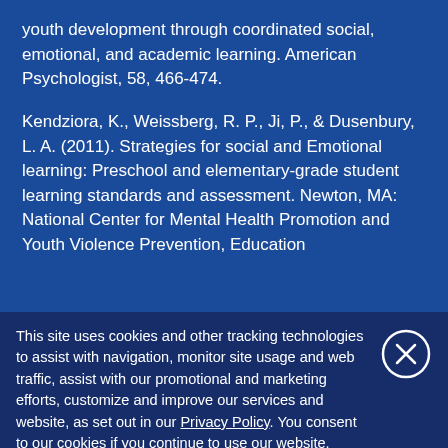youth development through coordinated social, emotional, and academic learning. American Psychologist, 58, 466-474.
Kendziora, K., Weissberg, R. P., Ji, P., & Dusenbury, L. A. (2011). Strategies for social and Emotional learning: Preschool and elementary-grade student learning standards and assessment. Newton, MA: National Center for Mental Health Promotion and Youth Violence Prevention, Education
This site uses cookies and other tracking technologies to assist with navigation, monitor site usage and web traffic, assist with our promotional and marketing efforts, customize and improve our services and website, as set out in our Privacy Policy. You consent to our cookies if you continue to use our website.